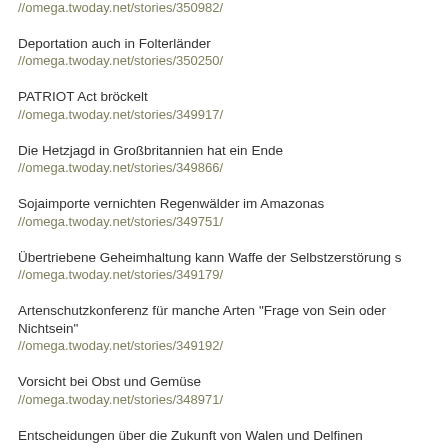//omega.twoday.net/stories/350982/
Deportation auch in Folterländer
//omega.twoday.net/stories/350250/
PATRIOT Act bröckelt
//omega.twoday.net/stories/349917/
Die Hetzjagd in Großbritannien hat ein Ende
//omega.twoday.net/stories/349866/
Sojaimporte vernichten Regenwälder im Amazonas
//omega.twoday.net/stories/349751/
Übertriebene Geheimhaltung kann Waffe der Selbstzerstörung s
//omega.twoday.net/stories/349179/
Artenschutzkonferenz für manche Arten "Frage von Sein oder Nichtsein"
//omega.twoday.net/stories/349192/
Vorsicht bei Obst und Gemüse
//omega.twoday.net/stories/348971/
Entscheidungen über die Zukunft von Walen und Delfinen
//omega.twoday.net/stories/347796/
Neuverhandlung der EU-Biopatent-Richtlinie gefordert
//omega.twoday.net/stories/347792/